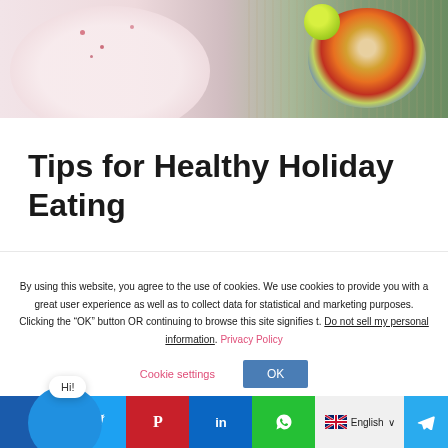[Figure (photo): Top portion of a food article page showing a plate with light pink/cream surface with scattered pink peppercorns on the left, and a bowl of colorful fruit/vegetable salad with a lime wedge on the right, against a woven mat background.]
Tips for Healthy Holiday Eating
By using this website, you agree to the use of cookies. We use cookies to provide you with a great user experience as well as to collect data for statistical and marketing purposes. Clicking the “OK” button OR continuing to browse this site signifies t. Do not sell my personal information. Privacy Policy
Cookie settings
OK
Hi!
f  •  Twitter  •  Pinterest  •  in  •  WhatsApp  •  English  •  Telegram